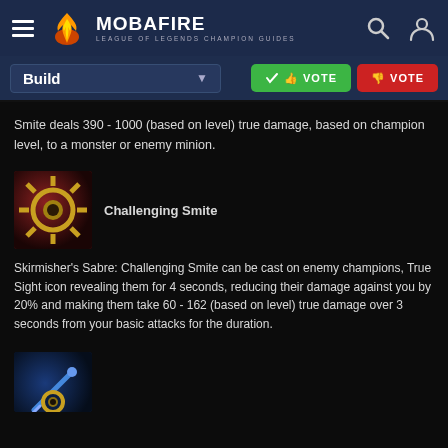MOBAFIRE — LEAGUE OF LEGENDS CHAMPION GUIDES
Build
VOTE (upvote) | VOTE (downvote)
Smite deals 390 - 1000 (based on level) true damage, based on champion level, to a monster or enemy minion.
[Figure (illustration): Skirmisher's Sabre item icon — dark red background with a gold mechanical/sabre item]
Challenging Smite
Skirmisher's Sabre: Challenging Smite can be cast on enemy champions, True Sight icon revealing them for 4 seconds, reducing their damage against you by 20% and making them take 60 - 162 (based on level) true damage over 3 seconds from your basic attacks for the duration.
[Figure (illustration): Blue-toned item icon partially visible at bottom of page]